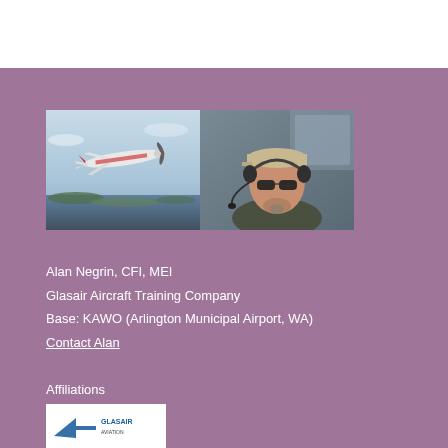[Figure (photo): Two side-by-side photos: left shows a Glasair aircraft in flight over water/islands with mountain backdrop; right shows a man wearing a headset and cap, seated in an aircraft cockpit.]
Alan Negrin, CFI, MEI
Glasair Aircraft Training Company
Base: KAWO (Arlington Municipal Airport, WA)
Contact Alan
Affiliations
[Figure (logo): Glasair or aviation organization logo — white background with stylized wing/arrow graphic and text]